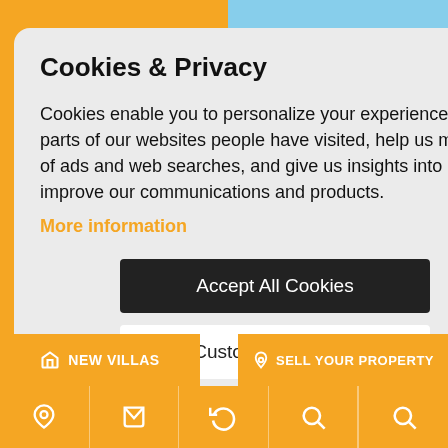Cookies & Privacy
Cookies enable you to personalize your experience on our site, tell us which parts of our websites people have visited, help us measure the effectiveness of ads and web searches, and give us insights into user behavior so we can improve our communications and products.
More information
Accept All Cookies
Customise Cookies
[Figure (photo): Mountain landscape with blue sky and green vegetation in background]
NEW VILLAS
SELL YOUR PROPERTY